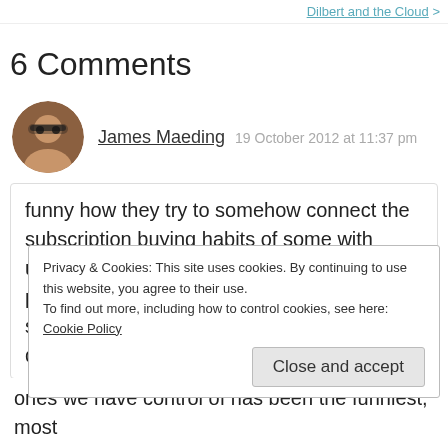Dilbert and the Cloud >
6 Comments
James Maeding   19 October 2012 at 11:37 pm
funny how they try to somehow connect the subscription buying habits of some with upgrade habits of others. It reads like a paper I might have written in 6th grade to satasfy some teacher giving an assignment I did not care about and just
Privacy & Cookies: This site uses cookies. By continuing to use this website, you agree to their use.
To find out more, including how to control cookies, see here: Cookie Policy
ones we have control of has been the funniest, most